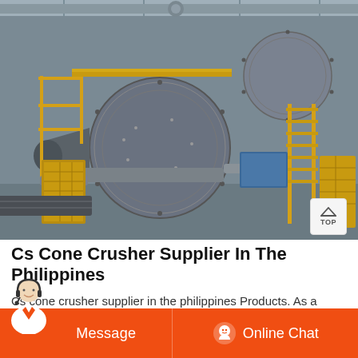[Figure (photo): Industrial mining/milling facility interior showing large ball mills and grinding equipment, yellow safety railings and staircases, steel structures, conveyor systems, under a corrugated metal roof.]
Cs Cone Crusher Supplier In The Philippines
Cs cone crusher supplier in the philippines Products. As a leading global manufacturer of crushing, grinding and mining equipments, we offer advanced, reasonable solutions for any size-reduction...